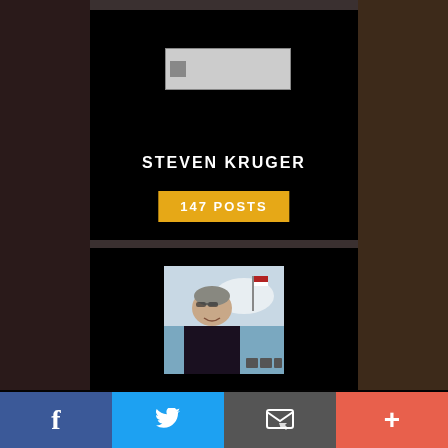[Figure (screenshot): Website profile card for author Steven Kruger on black background with broken logo image placeholder at top]
STEVEN KRUGER
147 POSTS
[Figure (photo): Headshot photo of a woman with short hair and sunglasses on her head, smiling, outdoors with a flag and tent in background]
We use cookies to ensure that we give you the best experience on our website. If you continue to use this site we will assume that you are happy with it.
f  [Twitter bird]  [Email icon]  +